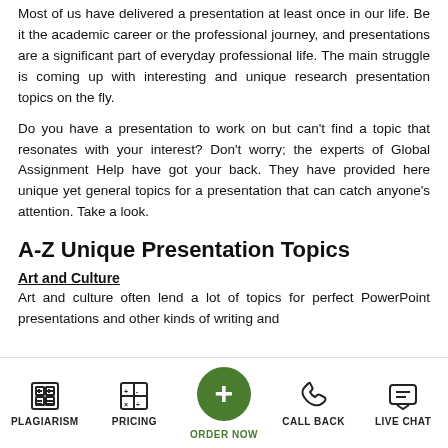Most of us have delivered a presentation at least once in our life. Be it the academic career or the professional journey, and presentations are a significant part of everyday professional life. The main struggle is coming up with interesting and unique research presentation topics on the fly.
Do you have a presentation to work on but can't find a topic that resonates with your interest? Don't worry; the experts of Global Assignment Help have got your back. They have provided here unique yet general topics for a presentation that can catch anyone's attention. Take a look.
A-Z Unique Presentation Topics
Art and Culture
Art and culture often lend a lot of topics for perfect PowerPoint presentations and other kinds of writing and
PLAGIARISM   PRICING   ORDER NOW   CALL BACK   LIVE CHAT